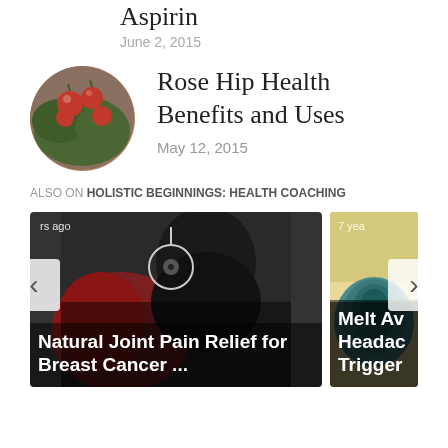Aspirin
June 2, 2015
[Figure (photo): Circular thumbnail photo of rose hips (red berries with green leaves)]
Rose Hip Health Benefits and Uses
May 12, 2015
ALSO ON HOLISTIC BEGINNINGS: HEALTH COACHING
[Figure (photo): Card image: a person with dark hair, medical/stethoscope imagery visible. Text overlay: 'rs ago' and 'Natural Joint Pain Relief for Breast Cancer ...']
[Figure (photo): Partial card image: teal/yarn textures. Text overlay: '7 yea' and 'Melt Av Headac Trigger']